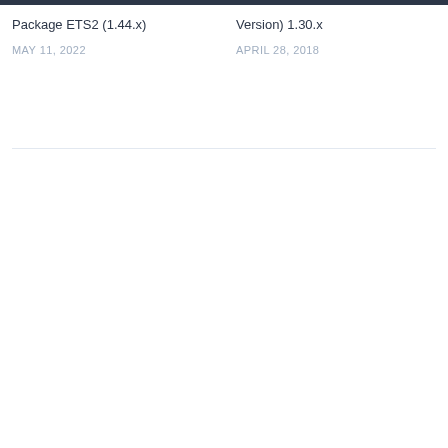Package ETS2 (1.44.x)
MAY 11, 2022
Version) 1.30.x
APRIL 28, 2018